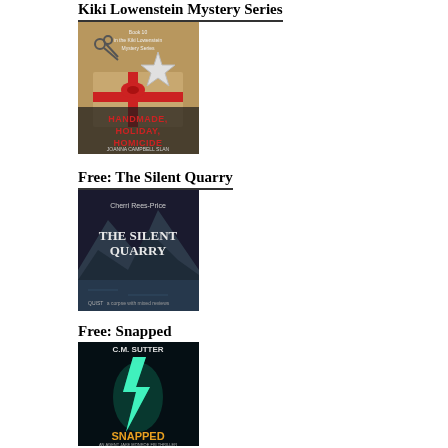Kiki Lowenstein Mystery Series
[Figure (illustration): Book cover: Handmade, Holiday, Homicide by Joanna Campbell Slan. Shows wrapped gift with ribbon and star ornament, red text on dark background.]
Free: The Silent Quarry
[Figure (illustration): Book cover: The Silent Quarry by Cherri Rees-Price. Dark mountain landscape with lake, published by Quist.]
Free: Snapped
[Figure (illustration): Book cover: Snapped by C.M. Sutter. Dark cover with lightning bolt, subtitle: An Agent Jake Monroe FBI Thriller.]